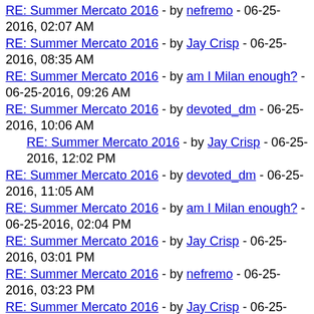RE: Summer Mercato 2016 - by nefremo - 06-25-2016, 02:07 AM
RE: Summer Mercato 2016 - by Jay Crisp - 06-25-2016, 08:35 AM
RE: Summer Mercato 2016 - by am I Milan enough? - 06-25-2016, 09:26 AM
RE: Summer Mercato 2016 - by devoted_dm - 06-25-2016, 10:06 AM
RE: Summer Mercato 2016 - by Jay Crisp - 06-25-2016, 12:02 PM
RE: Summer Mercato 2016 - by devoted_dm - 06-25-2016, 11:05 AM
RE: Summer Mercato 2016 - by am I Milan enough? - 06-25-2016, 02:04 PM
RE: Summer Mercato 2016 - by Jay Crisp - 06-25-2016, 03:01 PM
RE: Summer Mercato 2016 - by nefremo - 06-25-2016, 03:23 PM
RE: Summer Mercato 2016 - by Jay Crisp - 06-25-2016, 03:44 PM
RE: Summer Mercato 2016 - by am I Milan enough? - 06-25-2016, 03:59 PM
Summer Mercato 2016 - by PerSempre - 06-26-2016, 03:13 AM
RE: Summer Mercato 2016 - by slifersd - 06-26-2016, 07:17